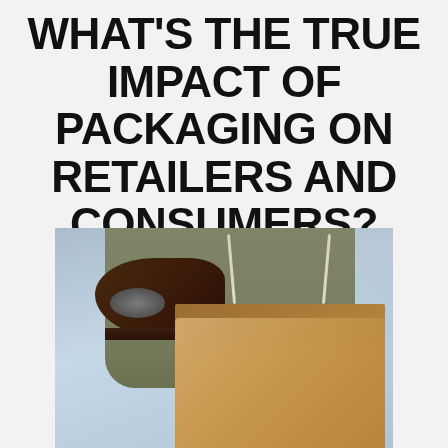WHAT'S THE TRUE IMPACT OF PACKAGING ON RETAILERS AND CONSUMERS?
[Figure (photo): Person holding multiple shopping bags including a kraft paper bag with rope handles, bracelets/jewelry visible on wrist, blurred blue background]